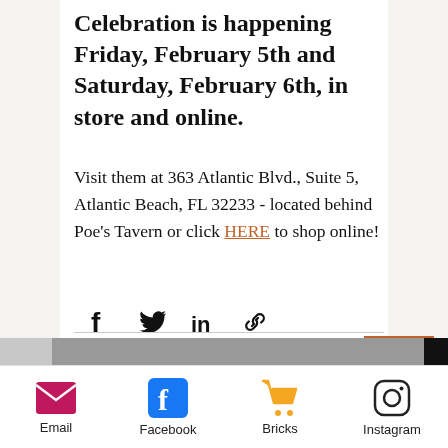Celebration is happening Friday, February 5th and Saturday, February 6th, in store and online.
Visit them at 363 Atlantic Blvd., Suite 5, Atlantic Beach, FL 32233 - located behind Poe's Tavern or click HERE to shop online!
[Figure (infographic): Social share icons: Facebook, Twitter, LinkedIn, Link]
[Figure (infographic): Stats row: 28 views, comment icon, heart/like icon]
Recent Posts
[Figure (infographic): Scroll-to-top button with upward arrow, terracotta border]
[Figure (infographic): Thumbnail strip at bottom of content]
Email  Facebook  Bricks  Instagram